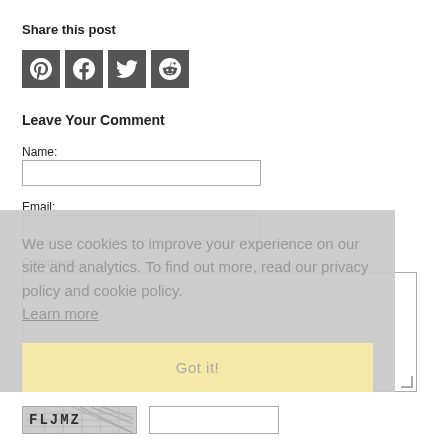Share this post
[Figure (infographic): Four social media sharing icon buttons: Pinterest (P), Facebook (f), Twitter (bird), Reddit (alien face), each in a dark gray square]
Leave Your Comment
Name:
Email:
Comment:
We use cookies to improve your experience on our site and analytics. To find out more, read our privacy policy and cookie policy. Learn more
Got it!
[Figure (other): CAPTCHA image showing text FLJMZ with hatched background, alongside a text input field]